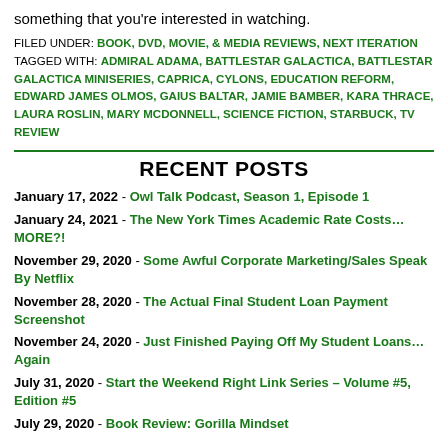something that you're interested in watching.
FILED UNDER: BOOK, DVD, MOVIE, & MEDIA REVIEWS, NEXT ITERATION TAGGED WITH: ADMIRAL ADAMA, BATTLESTAR GALACTICA, BATTLESTAR GALACTICA MINISERIES, CAPRICA, CYLONS, EDUCATION REFORM, EDWARD JAMES OLMOS, GAIUS BALTAR, JAMIE BAMBER, KARA THRACE, LAURA ROSLIN, MARY MCDONNELL, SCIENCE FICTION, STARBUCK, TV REVIEW
RECENT POSTS
January 17, 2022 - Owl Talk Podcast, Season 1, Episode 1
January 24, 2021 - The New York Times Academic Rate Costs… MORE?!
November 29, 2020 - Some Awful Corporate Marketing/Sales Speak By Netflix
November 28, 2020 - The Actual Final Student Loan Payment Screenshot
November 24, 2020 - Just Finished Paying Off My Student Loans… Again
July 31, 2020 - Start the Weekend Right Link Series – Volume #5, Edition #5
July 29, 2020 - Book Review: Gorilla Mindset